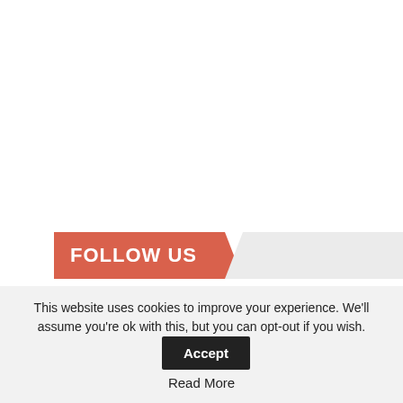FOLLOW US
[Figure (other): Facebook icon square with white 'f' letter on dark blue background]
Facebook
[Figure (other): Twitter icon square with white bird on sky blue background]
422
[Figure (other): YouTube icon square with white play button on red background]
Youtube
[Figure (other): Instagram icon square with white camera outline on steel blue background]
Instagram
This website uses cookies to improve your experience. We'll assume you're ok with this, but you can opt-out if you wish.
Accept
Read More